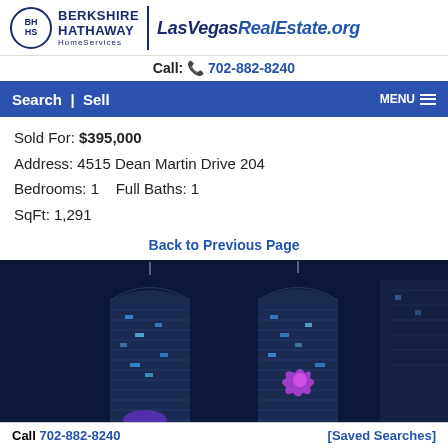[Figure (logo): Berkshire Hathaway HomeServices logo with LasVegasRealEstate.org website URL]
Call: 702-882-8240
Search | Sell   MENU
Sold For: $395,000
Address: 4515 Dean Martin Drive 204
Bedrooms: 1   Full Baths: 1
SqFt: 1,291
Back to Previous Page
[Figure (photo): Night photo of two curved high-rise condominium towers with blue and purple lighting, Las Vegas skyline]
Call 702-882-8240    [Saved Searches]